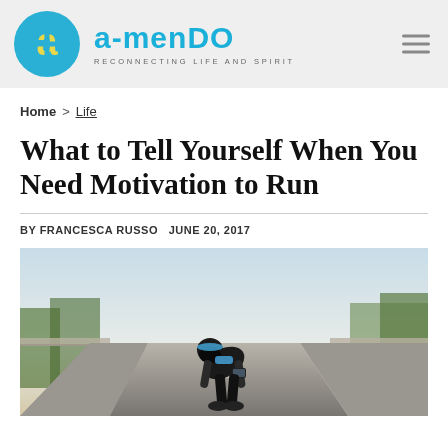a-mendo | RECONNECTING LIFE AND SPIRIT
Home > Life
What to Tell Yourself When You Need Motivation to Run
BY FRANCESCA RUSSO   JUNE 20, 2017
[Figure (photo): A runner bent over on a road, wearing blue sports attire with a phone armband, viewed from behind. Road stretches into the distance with trees and railing visible.]